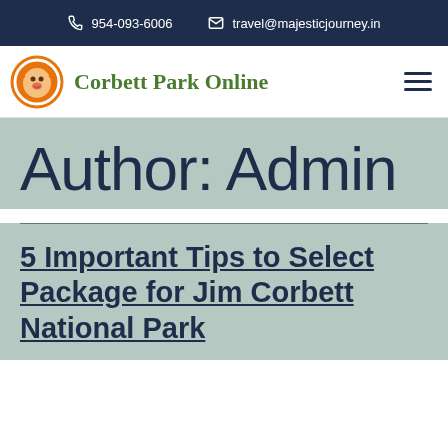954-093-6006   travel@majesticjourney.in
[Figure (logo): Corbett Park Online logo: orange circular tiger face icon with green text 'Corbett Park Online']
Author: Admin
5 Important Tips to Select Package for Jim Corbett National Park